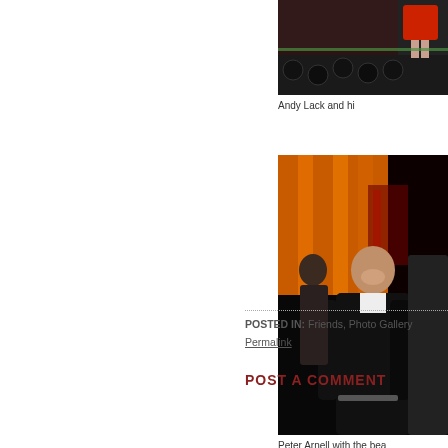[Figure (photo): Photo of Andy Lack and companion, partially cropped, showing bowling alley or dark venue background with red decorative elements and a figure in a red dress]
Andy Lack and hi
[Figure (photo): Photo of Peter Arnell with a woman, standing in front of orange/amber curtains in a dark venue. Peter Arnell is bald, wearing a black leather jacket over white shirt, smiling.]
Peter Arnell with the bea
POSTED IN: Friends, Photo Gallery
Permalink
POST A COMMENT